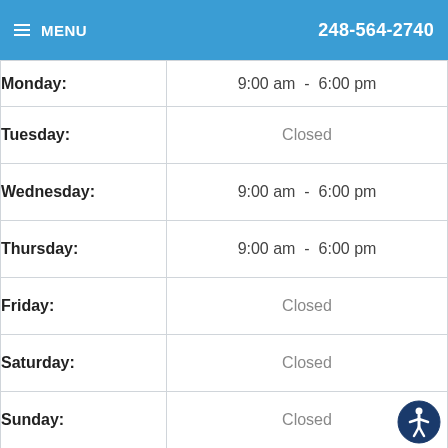MENU | 248-564-2740
| Day | Hours |
| --- | --- |
| Monday: | 9:00 am  -  6:00 pm |
| Tuesday: | Closed |
| Wednesday: | 9:00 am  -  6:00 pm |
| Thursday: | 9:00 am  -  6:00 pm |
| Friday: | Closed |
| Saturday: | Closed |
| Sunday: | Closed |